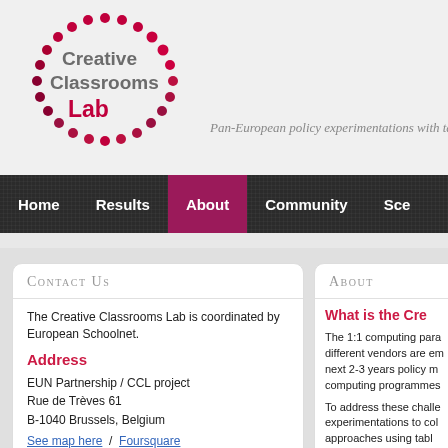[Figure (logo): Creative Classrooms Lab logo: circle of red/pink dots with text 'Creative Classrooms Lab']
Pan-European policy experimentations with ta...
Home | Results | About | Community | Sce...
Contact Us
The Creative Classrooms Lab is coordinated by European Schoolnet.
Address
EUN Partnership / CCL project
Rue de Trèves 61
B-1040 Brussels, Belgium
See map here  /  Foursquare
About
What is the Cre...
The 1:1 computing para... different vendors are em... next 2-3 years policy m... computing programmes...
To address these challe... experimentations to col... approaches using tabl...